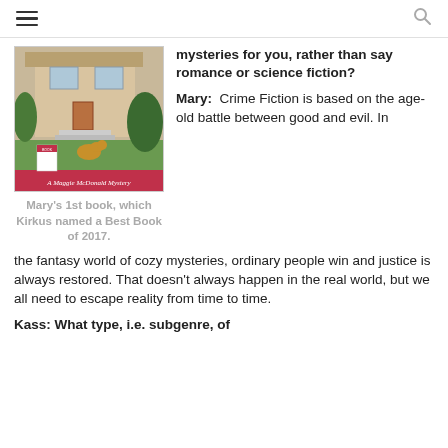≡  🔍
[Figure (photo): Book cover photo showing a suburban home exterior with a golden retriever dog and a 'A Maggie McDonald Mystery' banner at the bottom.]
Mary's 1st book, which Kirkus named a Best Book of 2017.
mysteries for you, rather than say romance or science fiction?
Mary:  Crime Fiction is based on the age-old battle between good and evil. In the fantasy world of cozy mysteries, ordinary people win and justice is always restored. That doesn't always happen in the real world, but we all need to escape reality from time to time.
Kass:  What type, i.e. subgenre, of